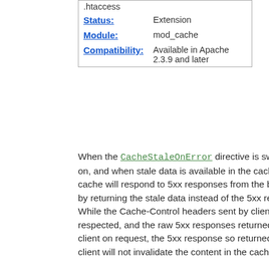| .htaccess |  |
| Status: | Extension |
| Module: | mod_cache |
| Compatibility: | Available in Apache 2.3.9 and later |
When the CacheStaleOnError directive is switched on, and when stale data is available in the cache, the cache will respond to 5xx responses from the backend by returning the stale data instead of the 5xx response. While the Cache-Control headers sent by clients will be respected, and the raw 5xx responses returned to the client on request, the 5xx response so returned to the client will not invalidate the content in the cache.